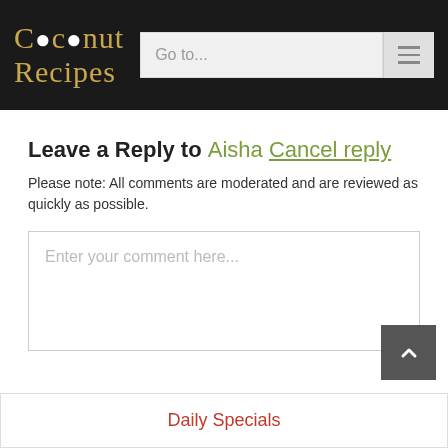Coconut Recipes — Go to...
Leave a Reply to Aisha Cancel reply
Please note: All comments are moderated and are reviewed as quickly as possible.
Enter your comment here...
Daily Specials